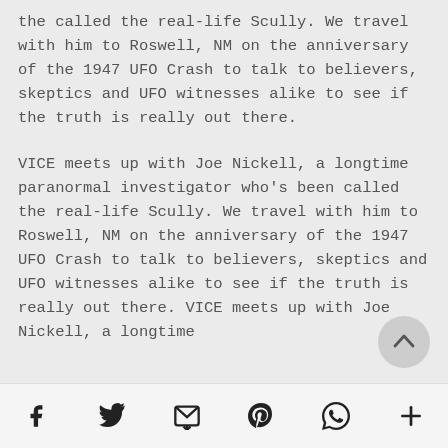the called the real-life Scully. We travel with him to Roswell, NM on the anniversary of the 1947 UFO Crash to talk to believers, skeptics and UFO witnesses alike to see if the truth is really out there.
VICE meets up with Joe Nickell, a longtime paranormal investigator who's been called the real-life Scully. We travel with him to Roswell, NM on the anniversary of the 1947 UFO Crash to talk to believers, skeptics and UFO witnesses alike to see if the truth is really out there. VICE meets up with Joe Nickell, a longtime